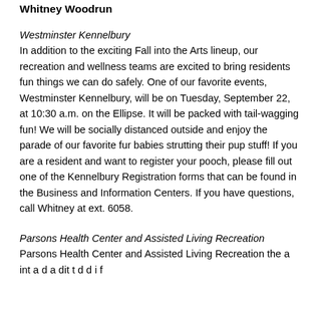Whitney Woodrun
Westminster Kennelbury
In addition to the exciting Fall into the Arts lineup, our recreation and wellness teams are excited to bring residents fun things we can do safely. One of our favorite events, Westminster Kennelbury, will be on Tuesday, September 22, at 10:30 a.m. on the Ellipse. It will be packed with tail-wagging fun! We will be socially distanced outside and enjoy the parade of our favorite fur babies strutting their pup stuff! If you are a resident and want to register your pooch, please fill out one of the Kennelbury Registration forms that can be found in the Business and Information Centers. If you have questions, call Whitney at ext. 6058.
Parsons Health Center and Assisted Living Recreation
Parsons Health Center and Assisted Living Recreation the a int a d a dit t d d i f